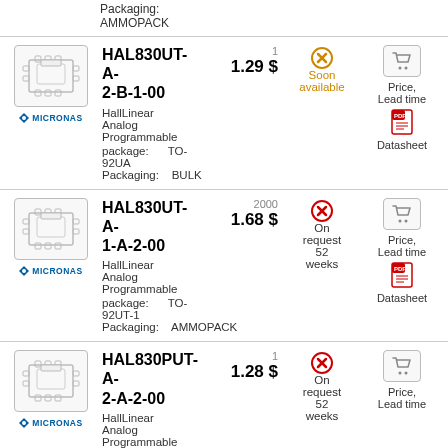Packaging: AMMOPACK
[Figure (illustration): MICRONAS chip component illustration with logo - HAL830UT-A-2-B-1-00]
HAL830UT-A-2-B-1-00
1.29 $
1
HallLinear Analog Programmable
package: TO-92UA
Packaging: BULK
Soon available
Price, Lead time
Datasheet
[Figure (illustration): MICRONAS chip component illustration with logo - HAL830UT-A-1-A-2-00]
HAL830UT-A-1-A-2-00
1.68 $
2000
HallLinear Analog Programmable
package: TO-92UT-1
Packaging: AMMOPACK
On request 52 weeks
Price, Lead time
Datasheet
[Figure (illustration): MICRONAS chip component illustration with logo - HAL830PUT-A-2-A-2-00]
HAL830PUT-A-2-A-2-00
1.28 $
1
HallLinear Analog Programmable
package: TO-
On request 52 weeks
Price, Lead time